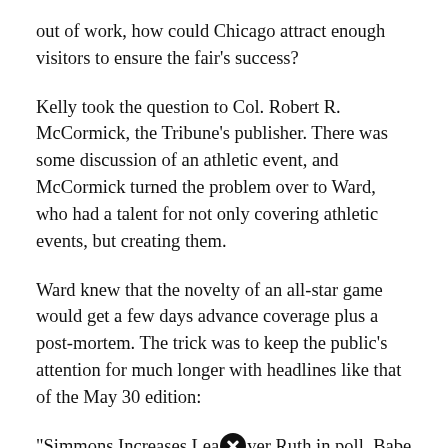out of work, how could Chicago attract enough visitors to ensure the fair’s success?
Kelly took the question to Col. Robert R. McCormick, the Tribune’s publisher. There was some discussion of an athletic event, and McCormick turned the problem over to Ward, who had a talent for not only covering athletic events, but creating them.
Ward knew that the novelty of an all-star game would get a few days advance coverage plus a post-mortem. The trick was to keep the public’s attention for much longer with headlines like that of the May 30 edition:
“Simmons Increases Lead Over Ruth in poll. Babe Trails In First Returns From New York.”